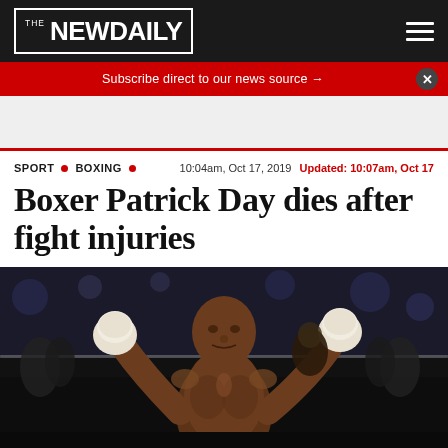THE NEW DAILY
Subscribe direct to our news source →
SPORT • BOXING • 10:04am, Oct 17, 2019 Updated: 10:07am, Oct 17
Boxer Patrick Day dies after fight injuries
[Figure (photo): Boxer Patrick Day with both fists raised in a boxing ring, shirtless, with crowd in background]